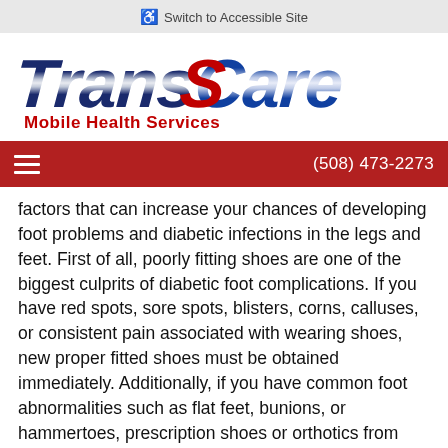Switch to Accessible Site
[Figure (logo): TransCare Mobile Health Services logo — italic bold navy/blue 'TransCare' with silver stripe effect, red 'Mobile Health Services' subtitle]
(508) 473-2273
factors that can increase your chances of developing foot problems and diabetic infections in the legs and feet. First of all, poorly fitting shoes are one of the biggest culprits of diabetic foot complications. If you have red spots, sore spots, blisters, corns, calluses, or consistent pain associated with wearing shoes, new proper fitted shoes must be obtained immediately. Additionally, if you have common foot abnormalities such as flat feet, bunions, or hammertoes, prescription shoes or orthotics from your podiatrist may be